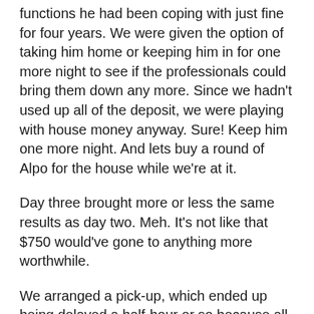functions he had been coping with just fine for four years. We were given the option of taking him home or keeping him in for one more night to see if the professionals could bring them down any more. Since we hadn't used up all of the deposit, we were playing with house money anyway. Sure! Keep him one more night. And lets buy a round of Alpo for the house while we're at it.
Day three brought more or less the same results as day two. Meh. It's not like that $750 would've gone to anything more worthwhile.
We arranged a pick-up, which ended up being delayed a half-hour or so because all five visitation rooms were occupied. Saturday night's alright for fighting, huh, frisky folks? Bow-chicka-wow-wow.
Oh, and we still hadn't used up our initial mark. Seventy